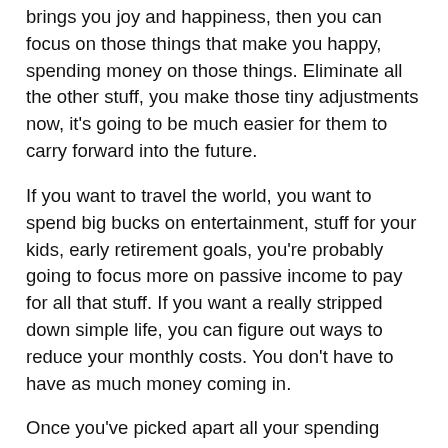brings you joy and happiness, then you can focus on those things that make you happy, spending money on those things. Eliminate all the other stuff, you make those tiny adjustments now, it's going to be much easier for them to carry forward into the future.
If you want to travel the world, you want to spend big bucks on entertainment, stuff for your kids, early retirement goals, you're probably going to focus more on passive income to pay for all that stuff. If you want a really stripped down simple life, you can figure out ways to reduce your monthly costs. You don't have to have as much money coming in.
Once you've picked apart all your spending habits, all your purchases, you've identified the waste, you've made a commitment, that, “Hey I’m going to be a great saver, I’m going to save more money.” When you figure out your monthly number, you've got a goal for income generation,